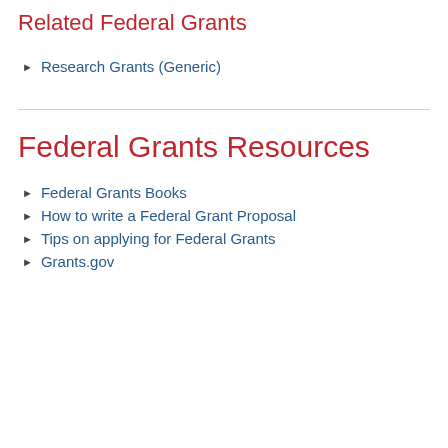Related Federal Grants
Research Grants (Generic)
Federal Grants Resources
Federal Grants Books
How to write a Federal Grant Proposal
Tips on applying for Federal Grants
Grants.gov